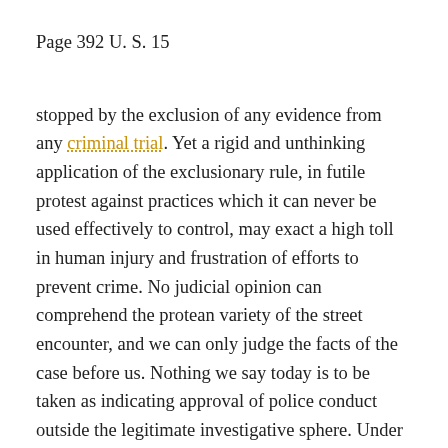Page 392 U. S. 15
stopped by the exclusion of any evidence from any criminal trial. Yet a rigid and unthinking application of the exclusionary rule, in futile protest against practices which it can never be used effectively to control, may exact a high toll in human injury and frustration of efforts to prevent crime. No judicial opinion can comprehend the protean variety of the street encounter, and we can only judge the facts of the case before us. Nothing we say today is to be taken as indicating approval of police conduct outside the legitimate investigative sphere. Under our decision, courts still retain their traditional responsibility to guard against police conduct which is overbearing or harassing, or which trenches upon personal security without the objective evidentiary justification which the Constitution requires. When such conduct is identified, it must be condemned by the judiciary, and its fruits must be excluded from evidence in criminal trials. And, of course, our approval of legitimate and restrained investigative conduct undertaken on